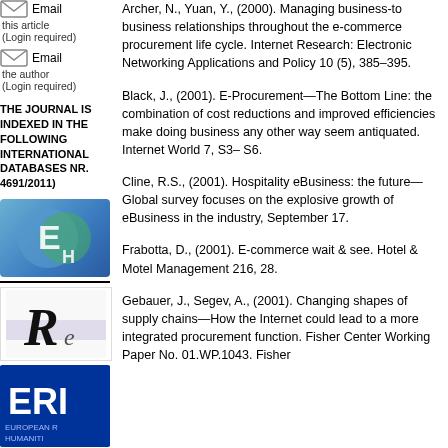[Figure (logo): Email icon with 'Email this article (Login required)' text]
[Figure (logo): Email icon with 'Email the author (Login required)' text]
THE JOURNAL IS INDEXED IN THE FOLLOWING INTERNATIONAL DATABASES NR. 4691/2011)
[Figure (logo): Blue/green circular logo with letter E and H]
[Figure (logo): Logo with cursive R letter]
[Figure (logo): ERI European logo with blue background]
Archer, N., Yuan, Y., (2000). Managing business-to business relationships throughout the e-commerce procurement life cycle. Internet Research: Electronic Networking Applications and Policy 10 (5), 385–395.
Black, J., (2001). E-Procurement—The Bottom Line: the combination of cost reductions and improved efficiencies make doing business any other way seem antiquated. Internet World 7, S3– S6.
Cline, R.S., (2001). Hospitality eBusiness: the future—Global survey focuses on the explosive growth of eBusiness in the industry, September 17.
Frabotta, D., (2001). E-commerce wait & see. Hotel & Motel Management 216, 28.
Gebauer, J., Segev, A., (2001). Changing shapes of supply chains—How the Internet could lead to a more integrated procurement function. Fisher Center Working Paper No. 01.WP.1043. Fisher